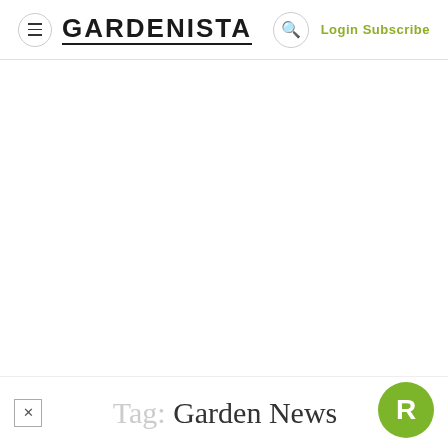GARDENISTA — Login Subscribe
Tag: Garden News